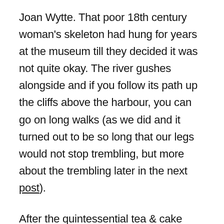Joan Wytte. That poor 18th century woman's skeleton had hung for years at the museum till they decided it was not quite okay. The river gushes alongside and if you follow its path up the cliffs above the harbour, you can go on long walks (as we did and it turned out to be so long that our legs would not stop trembling, but more about the trembling later in the next post).
After the quintessential tea & cake stop at the pretty tea room, once you are up on the cliffs, you can spot the Elizabethan harbour, a powerful reminder of times when privateers, wreckers and smugglers carried on thriving business with alacrity. Then you can sit on the cliffs and cast your